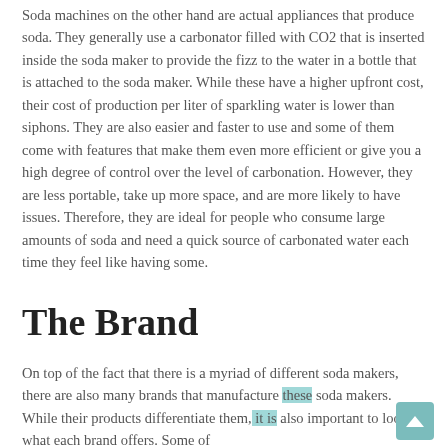Soda machines on the other hand are actual appliances that produce soda. They generally use a carbonator filled with CO2 that is inserted inside the soda maker to provide the fizz to the water in a bottle that is attached to the soda maker. While these have a higher upfront cost, their cost of production per liter of sparkling water is lower than siphons. They are also easier and faster to use and some of them come with features that make them even more efficient or give you a high degree of control over the level of carbonation. However, they are less portable, take up more space, and are more likely to have issues. Therefore, they are ideal for people who consume large amounts of soda and need a quick source of carbonated water each time they feel like having some.
The Brand
On top of the fact that there is a myriad of different soda makers, there are also many brands that manufacture these soda makers. While their products differentiate them, it is also important to look at what each brand offers. Some of